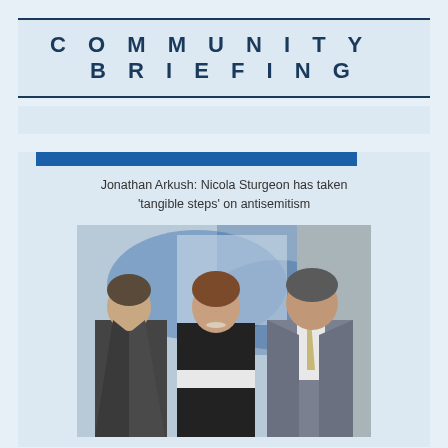COMMUNITY BRIEFING
Jonathan Arkush: Nicola Sturgeon has taken 'tangible steps' on antisemitism
[Figure (photo): Three people standing together in front of a blue and white flag background. A woman on the left wearing dark clothing, a woman in the center wearing a dark dress with white waistband (Nicola Sturgeon), and a man on the right wearing a suit (Jonathan Arkush).]